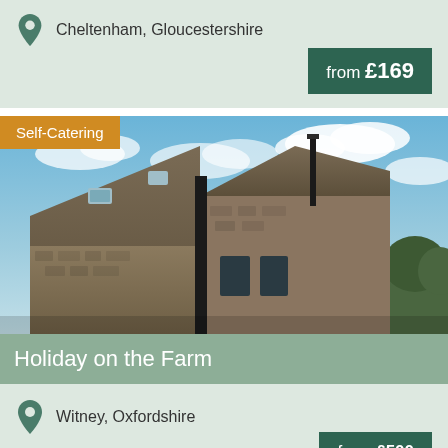Cheltenham, Gloucestershire
from £169
Self-Catering
[Figure (photo): Stone barn building with triangular roof under blue cloudy sky, farm holiday property]
Holiday on the Farm
Witney, Oxfordshire
from £500
Self-Catering